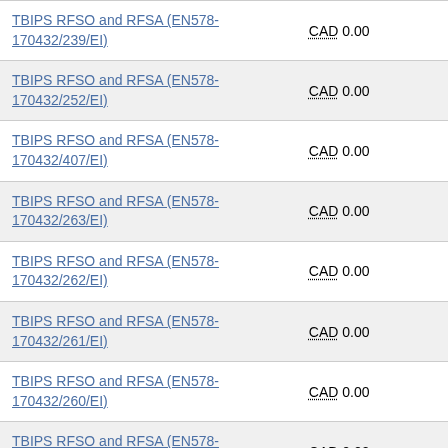| Contract Name | Value |
| --- | --- |
| TBIPS RFSO and RFSA (EN578-170432/239/EI) | CAD 0.00 |
| TBIPS RFSO and RFSA (EN578-170432/252/EI) | CAD 0.00 |
| TBIPS RFSO and RFSA (EN578-170432/407/EI) | CAD 0.00 |
| TBIPS RFSO and RFSA (EN578-170432/263/EI) | CAD 0.00 |
| TBIPS RFSO and RFSA (EN578-170432/262/EI) | CAD 0.00 |
| TBIPS RFSO and RFSA (EN578-170432/261/EI) | CAD 0.00 |
| TBIPS RFSO and RFSA (EN578-170432/260/EI) | CAD 0.00 |
| TBIPS RFSO and RFSA (EN578-170432/259/EI) | CAD 0.00 |
| TBIPS RFSO and RFSA (EN578-170432/406/EI) | CAD 0.00 |
| TBIPS RFSO and RFSA (EN578-... | CAD 0.00 |